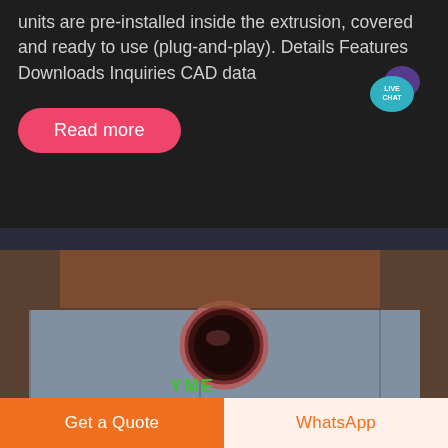units are pre-installed inside the extrusion, covered and ready to use (plug-and-play). Details Features Downloads Inquiries CAD data
[Figure (other): Teal speech bubble with 'LIVE CHAT' text in white]
Read more
[Figure (photo): Photo of industrial extrusion equipment with a round pipe opening in center, gray panel background, and a partially visible YME logo at the bottom in green and red]
Get a Quote
WhatsApp